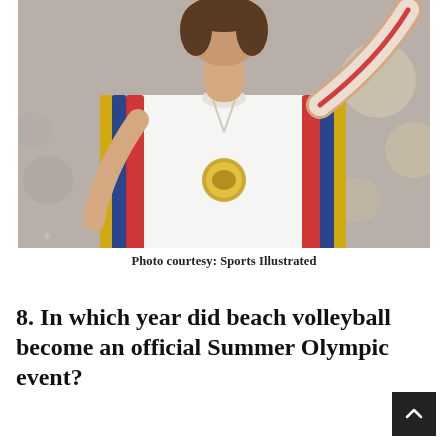[Figure (photo): A person wearing a white jersey with colored stripes (red, blue, yellow) and a medal around their neck, raising their arm, photographed from torso up.]
Photo courtesy: Sports Illustrated
8. In which year did beach volleyball become an official Summer Olympic event?